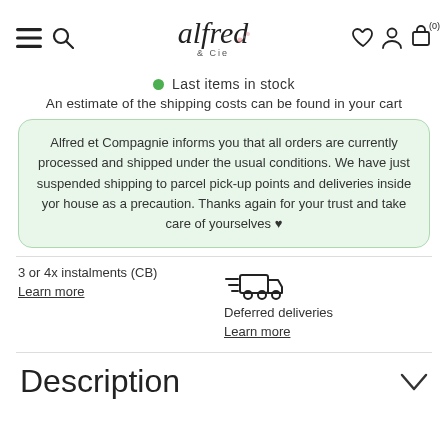Alfred & Cie — navigation header with hamburger menu, search, logo, heart, account, cart (0)
Last items in stock
An estimate of the shipping costs can be found in your cart
Alfred et Compagnie informs you that all orders are currently processed and shipped under the usual conditions. We have just suspended shipping to parcel pick-up points and deliveries inside yor house as a precaution. Thanks again for your trust and take care of yourselves ♥
3 or 4x instalments (CB)
Learn more
[Figure (illustration): Delivery truck icon with speed lines]
Deferred deliveries
Learn more
Description